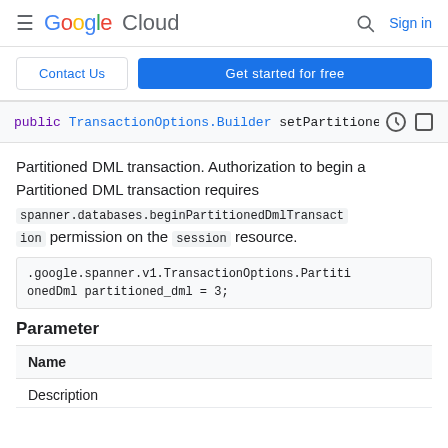Google Cloud — Sign in
Contact Us | Get started for free
[Figure (screenshot): Code snippet showing: public TransactionOptions.Builder setPartitionedD]
Partitioned DML transaction. Authorization to begin a Partitioned DML transaction requires spanner.databases.beginPartitionedDmlTransaction permission on the session resource.
.google.spanner.v1.TransactionOptions.PartitionedDml partitioned_dml = 3;
Parameter
| Name |
| --- |
| Description (partial) |